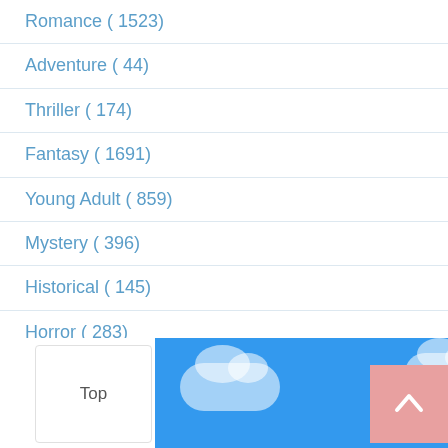Romance ( 1523)
Adventure ( 44)
Thriller ( 174)
Fantasy ( 1691)
Young Adult ( 859)
Mystery ( 396)
Historical ( 145)
Horror ( 283)
Science Fiction ( 476)
Humorous ( 82)
Christian ( 20)
Western ( 13)
[Figure (illustration): Blue sky with white clouds background image, with a white card labeled 'Top' and a pink scroll-to-top button with an arrow]